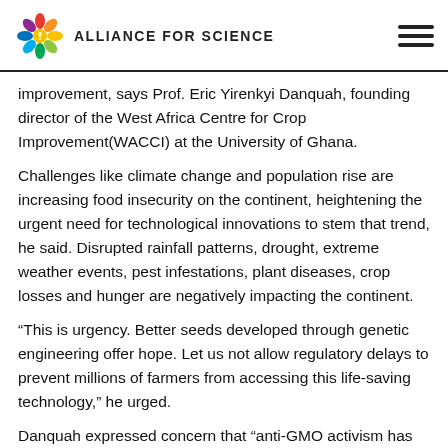ALLIANCE FOR SCIENCE
improvement, says Prof. Eric Yirenkyi Danquah, founding director of the West Africa Centre for Crop Improvement(WACCI) at the University of Ghana.
Challenges like climate change and population rise are increasing food insecurity on the continent, heightening the urgent need for technological innovations to stem that trend, he said. Disrupted rainfall patterns, drought, extreme weather events, pest infestations, plant diseases, crop losses and hunger are negatively impacting the continent.
“This is urgency. Better seeds developed through genetic engineering offer hope. Let us not allow regulatory delays to prevent millions of farmers from accessing this life-saving technology,” he urged.
Danquah expressed concern that “anti-GMO activism has